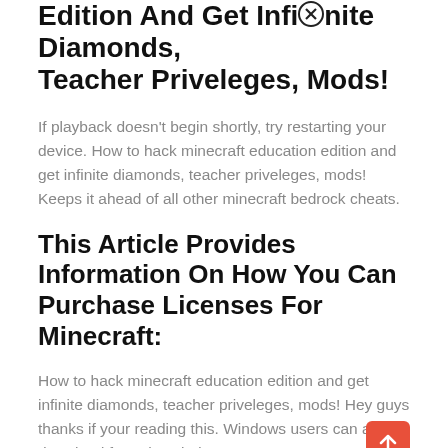Edition And Get Infinite Diamonds, Teacher Priveleges, Mods!
If playback doesn't begin shortly, try restarting your device. How to hack minecraft education edition and get infinite diamonds, teacher priveleges, mods! Keeps it ahead of all other minecraft bedrock cheats.
This Article Provides Information On How You Can Purchase Licenses For Minecraft:
How to hack minecraft education edition and get infinite diamonds, teacher priveleges, mods! Hey guys thanks if your reading this. Windows users can also download from the windows store.
Aug 09, 2021 · A Popular Hacked Client Called Chron For Minecraft Bedrock